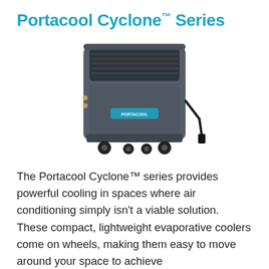Portacool Cyclone™ Series
[Figure (photo): Portacool Cyclone series portable evaporative cooler unit, gray/dark colored, on wheels, with vented top panel, power cord on right side, and brand label on front.]
The Portacool Cyclone™ series provides powerful cooling in spaces where air conditioning simply isn't a viable solution. These compact, lightweight evaporative coolers come on wheels, making them easy to move around your space to achieve